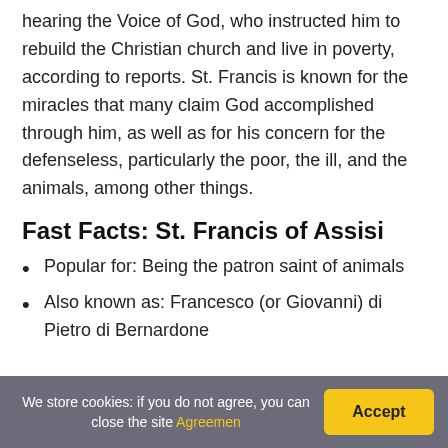hearing the Voice of God, who instructed him to rebuild the Christian church and live in poverty, according to reports. St. Francis is known for the miracles that many claim God accomplished through him, as well as for his concern for the defenseless, particularly the poor, the ill, and the animals, among other things.
Fast Facts: St. Francis of Assisi
Popular for: Being the patron saint of animals
Also known as: Francesco (or Giovanni) di Pietro di Bernardone
We store cookies: if you do not agree, you can close the site Agreemen Accept